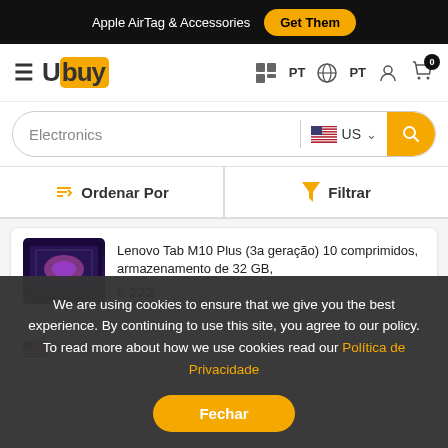Apple AirTag & Accessories  Get Them
[Figure (logo): Ubuy logo with orange background on 'buy' letters]
PT  PT
Electronics  US
Ordenar Por   Filtrar
[Figure (photo): Lenovo Tab M10 Plus tablet product image]
Lenovo Tab M10 Plus (3a geração) 10 comprimidos, armazenamento de 32 GB,
€ 222
US loja
We are using cookies to ensure that we give you the best experience. By continuing to use this site, you agree to our policy. To read more about how we use cookies read our Política de Privacidade
Fechar